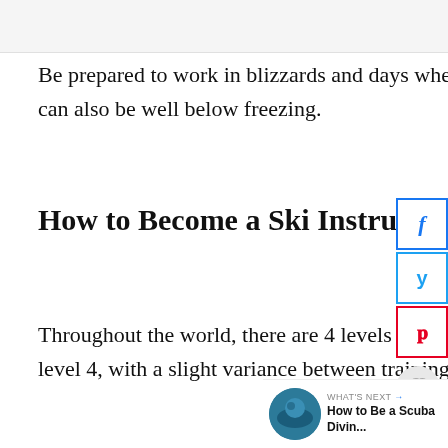Be prepared to work in blizzards and days where the visibility is very poor. The temperatures can also be well below freezing.
How to Become a Ski Instructor
Throughout the world, there are 4 levels of certification. The basic entry level 1 up to expert level 4, with a slight variance between training certifiers and countries.
[Figure (other): Social sharing sidebar with Facebook, Twitter, and Pinterest buttons, plus heart and share icons]
[Figure (other): What's Next promo box with circular thumbnail image and text 'How to Be a Scuba Divin...']